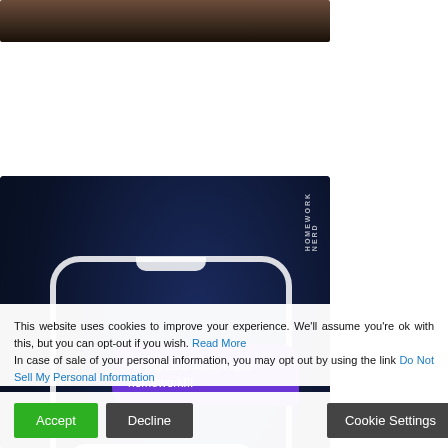[Figure (photo): Top portion of a dark brown/black background photo, cropped at top of page]
[Figure (screenshot): Phone mockup on dark starry background showing text message bubbles. One purple bubble reads 'All-nighters suck, I hate homework!!!' and one white bubble reads 'I used pro-papers.com and slept like a baby'. A third partially visible bubble at bottom. 'HOMEWORK NERD' text visible in upper right. Starry night sky background.]
This website uses cookies to improve your experience. We'll assume you're ok with this, but you can opt-out if you wish. Read More In case of sale of your personal information, you may opt out by using the link Do Not Sell My Personal Information
Accept
Decline
Cookie Settings